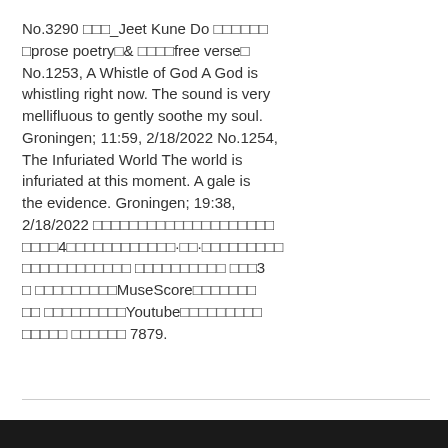No.3290 □□□_Jeet Kune Do □□□□□□□prose poetry□& □□□□free verse□ No.1253, A Whistle of God A God is whistling right now. The sound is very mellifluous to gently soothe my soul. Groningen; 11:59, 2/18/2022 No.1254, The Infuriated World The world is infuriated at this moment. A gale is the evidence. Groningen; 19:38, 2/18/2022 □□□□□□□□□□□□□□□□□□□□□□□□4□□□□□□□□□□□□·□□·□□□□□□□□□□□□□□□□□□□□□ □□□□□□□□□□ □□□3□ □□□□□□□□□MuseScore□□□□□□□□□□ □□□□□□□□□Youtube□□□□□□□□□□□□□□ □□□□□□ 7879.